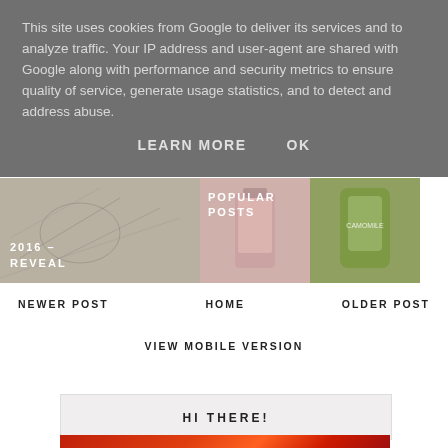This site uses cookies from Google to deliver its services and to analyze traffic. Your IP address and user-agent are shared with Google along with performance and security metrics to ensure quality of service, generate usage statistics, and to detect and address abuse.
LEARN MORE    OK
[Figure (photo): Three image blocks: a sketch/drawing with overlay text '2016 - REVEAL', a nail polish bottle, and a green skincare product bottle. Text overlay 'POPULAR POSTS' on second/third blocks.]
NEWER POST    HOME    OLDER POST
VIEW MOBILE VERSION
HI THERE!
[Figure (photo): Red/orange toned image strip at the bottom, partially visible.]